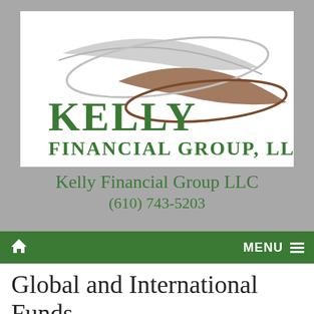[Figure (logo): Kelly Financial Group LLC logo with two curved swoosh shapes (grey and brown) above the company name in dark green serif text reading KELLY FINANCIAL GROUP, LLC]
Kelly Financial Group LLC
(610) 743-5203
🏠   MENU ≡
Global and International Funds